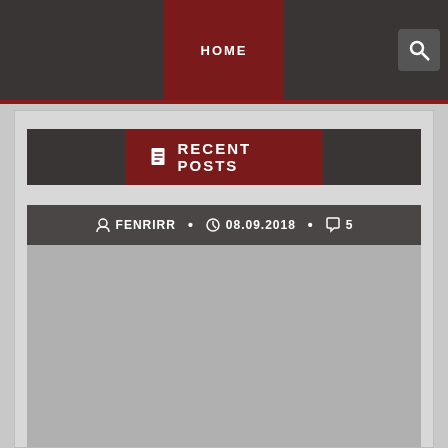HOME
RECENT POSTS
FENRIRR • 08.09.2018 • 5
[Figure (photo): Gray placeholder image area for a blog post]